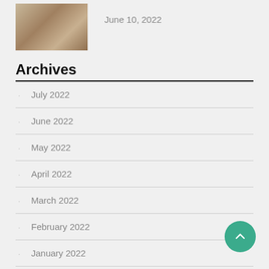[Figure (photo): Thumbnail photo of food items (chocolates or confections) in paper cups or cones]
June 10, 2022
Archives
July 2022
June 2022
May 2022
April 2022
March 2022
February 2022
January 2022